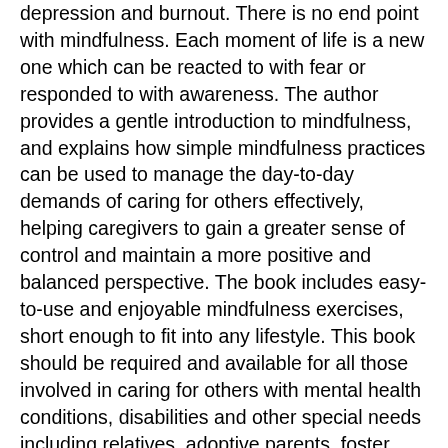depression and burnout. There is no end point with mindfulness. Each moment of life is a new one which can be reacted to with fear or responded to with awareness. The author provides a gentle introduction to mindfulness, and explains how simple mindfulness practices can be used to manage the day-to-day demands of caring for others effectively, helping caregivers to gain a greater sense of control and maintain a more positive and balanced perspective. The book includes easy-to-use and enjoyable mindfulness exercises, short enough to fit into any lifestyle. This book should be required and available for all those involved in caring for others with mental health conditions, disabilities and other special needs including relatives, adoptive parents, foster parents, as well as professionals including medical, health/mental health and child welfare staff. Mindfulness meditation can change the neuronal pathways in the brain: the more you do it the more your brain responds. This book was not only condensed and straight to the point but the author does a good job of explaining the short- and long-term implications of stress and burnout on overall health and wellbeing. The beauty of the book is it also a direct...